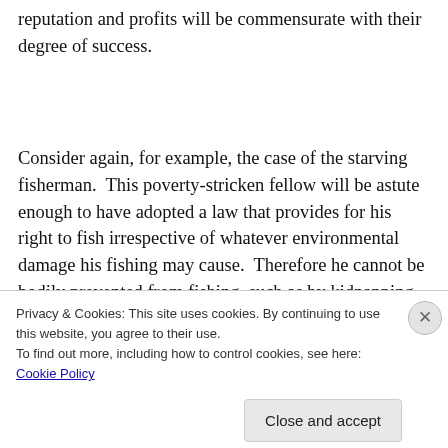reputation and profits will be commensurate with their degree of success.
Consider again, for example, the case of the starving fisherman.  This poverty-stricken fellow will be astute enough to have adopted a law that provides for his right to fish irrespective of whatever environmental damage his fishing may cause.  Therefore he cannot be bodily prevented from fishing, such as by kidnapping,
Privacy & Cookies: This site uses cookies. By continuing to use this website, you agree to their use.
To find out more, including how to control cookies, see here: Cookie Policy